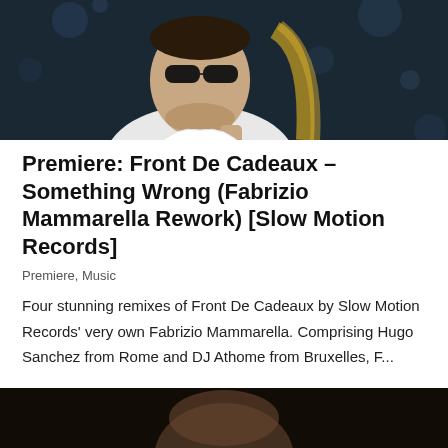[Figure (photo): A man wearing sunglasses and a white shirt photographed against a dark bokeh background, with a woman with blonde hair visible behind him.]
Premiere: Front De Cadeaux – Something Wrong (Fabrizio Mammarella Rework) [Slow Motion Records]
Premiere, Music
Four stunning remixes of Front De Cadeaux by Slow Motion Records' very own Fabrizio Mammarella. Comprising Hugo Sanchez from Rome and DJ Athome from Bruxelles, F...
[Figure (photo): Partial view of a person's face in a dark, moody setting, visible only at the bottom of the page.]